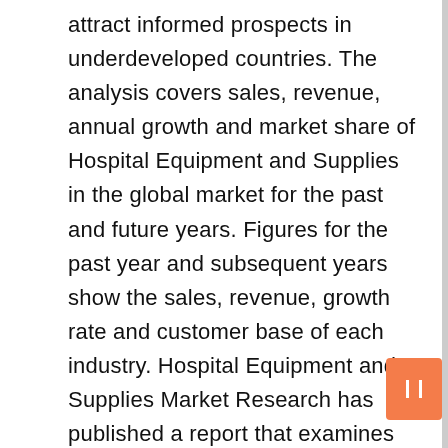attract informed prospects in underdeveloped countries. The analysis covers sales, revenue, annual growth and market share of Hospital Equipment and Supplies in the global market for the past and future years. Figures for the past year and subsequent years show the sales, revenue, growth rate and customer base of each industry. Hospital Equipment and Supplies Market Research has published a report that examines key physical and chemical growth methodologies employed by companies in the Hospital Equipment and Supplies market. Product launches, product endorsements, and intellectual property strategies were among the most common tactics for sustained growth.